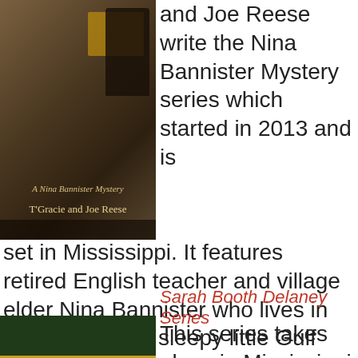[Figure (photo): Book cover for A Nina Bannister Mystery by T'Gracie and Joe Reese — dark tones showing a person at a window]
and Joe Reese write the Nina Bannister Mystery series which started in 2013 and is set in Mississippi. It features retired English teacher and village elder Nina Bannister who lives in Bay St. Lucy, a sleepy little Gulf
Sarah Booth Delaney Series
[Figure (photo): Book cover for Them Bones — A Mystery from the Mississippi Delta by Carolyn Haines, featuring a skull with fruit]
This series takes place in Mississippi and was started in 1999. It features thirty something